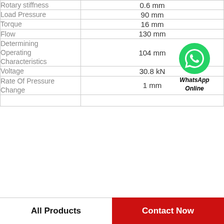| Property | Value |
| --- | --- |
| Rotary stiffness | 0.6 mm |
| Load Pressure | 90 mm |
| Torque | 16 mm |
| Flow | 130 mm |
| Determining Operating Characteristics | 104 mm |
| Voltage | 30.8 kN |
| Rate Of Pressure Change | 1 mm |
[Figure (logo): WhatsApp green circle logo with phone icon and text 'WhatsApp Online' in bold italic]
All Products
Contact Now